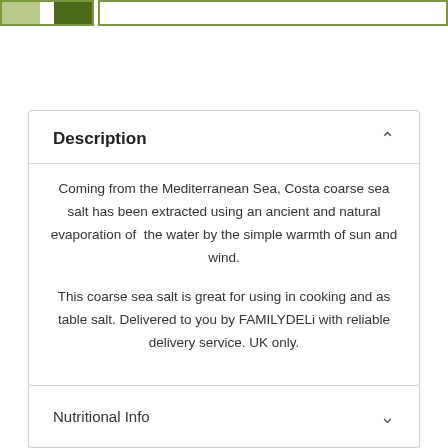[Figure (other): Color swatch selector with light green, white gap, and dark green swatches on the left, and an empty input/search box on the right, both outlined in green]
Description
Coming from the Mediterranean Sea, Costa coarse sea salt has been extracted using an ancient and natural evaporation of  the water by the simple warmth of sun and wind.
This coarse sea salt is great for using in cooking and as table salt. Delivered to you by FAMILYDELi with reliable delivery service. UK only.
Nutritional Info